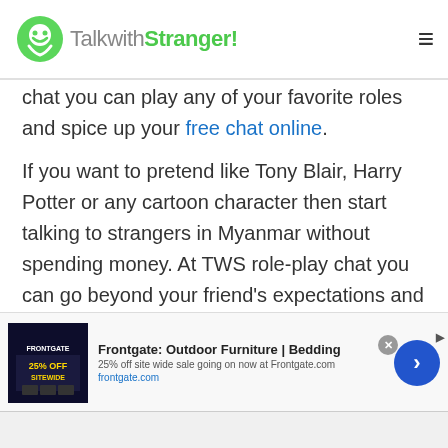TalkwithStranger!
chat you can play any of your favorite roles and spice up your free chat online.
If you want to pretend like Tony Blair, Harry Potter or any cartoon character then start talking to strangers in Myanmar without spending money. At TWS role-play chat you can go beyond your friend's expectations and keep them engaged for long. However, all you need is imaginative and powerful words as without focusing on your words you can't get unexpected results. So, be ready to make your conversation engaging and exciting via TWS free
[Figure (screenshot): Frontgate advertisement banner: Outdoor Furniture | Bedding. 25% off site wide sale going on now at Frontgate.com. frontgate.com]